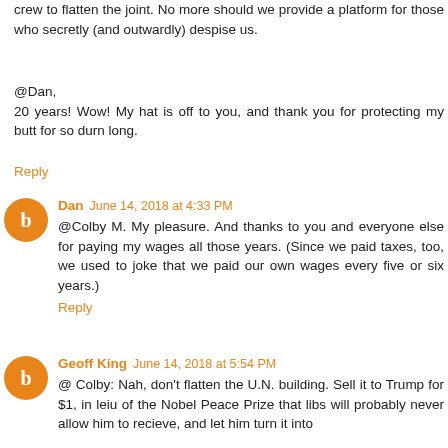crew to flatten the joint. No more should we provide a platform for those who secretly (and outwardly) despise us.
@Dan,
20 years! Wow! My hat is off to you, and thank you for protecting my butt for so durn long.
Reply
Dan June 14, 2018 at 4:33 PM
@Colby M. My pleasure. And thanks to you and everyone else for paying my wages all those years. (Since we paid taxes, too, we used to joke that we paid our own wages every five or six years.)
Reply
Geoff King June 14, 2018 at 5:54 PM
@ Colby: Nah, don't flatten the U.N. building. Sell it to Trump for $1, in leiu of the Nobel Peace Prize that libs will probably never allow him to recieve, and let him turn it into